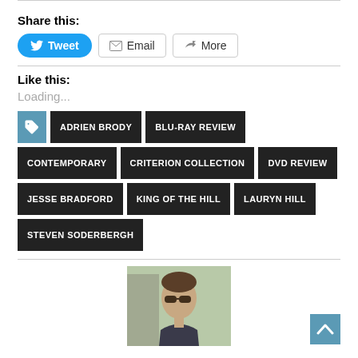Share this:
Tweet | Email | More
Like this:
Loading...
ADRIEN BRODY
BLU-RAY REVIEW
CONTEMPORARY
CRITERION COLLECTION
DVD REVIEW
JESSE BRADFORD
KING OF THE HILL
LAURYN HILL
STEVEN SODERBERGH
[Figure (photo): Author headshot photo of a person with sunglasses outdoors]